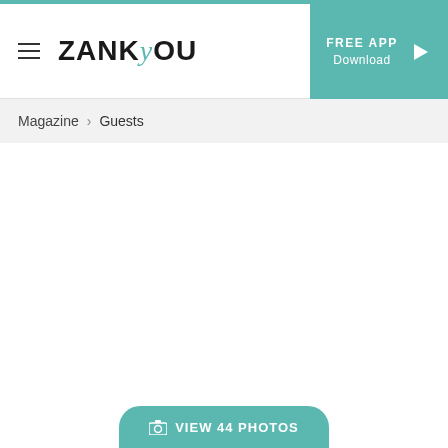ZANKYOU — FREE APP Download
Magazine > Guests
[Figure (screenshot): Empty white content area below breadcrumb navigation]
VIEW 44 PHOTOS